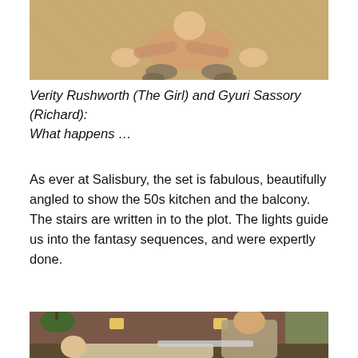[Figure (photo): A person on all fours on a wooden parquet floor, viewed from above, wearing casual clothes.]
Verity Rushworth (The Girl) and Gyuri Sassory (Richard): What happens …
As ever at Salisbury, the set is fabulous, beautifully angled to show the 50s kitchen and the balcony. The stairs are written in to the plot. The lights guide us into the fantasy sequences, and were expertly done.
[Figure (photo): Two men on a theatre stage set designed as a 1950s kitchen/living room. One man in a beige suit with glasses stands behind, one man lies on the floor with mouth open. Hanging plant, wall lights, floral curtains visible.]